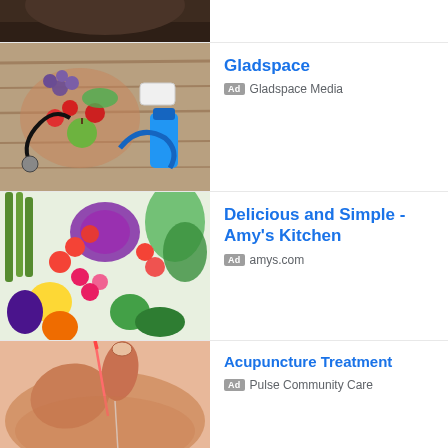[Figure (photo): Partial top crop of a person wearing dark clothing]
[Figure (photo): Heart-shaped arrangement of fruits and vegetables with stethoscope, water bottle on wooden table]
Gladspace
Ad Gladspace Media
[Figure (photo): Colorful fresh vegetables including asparagus, tomatoes, bell peppers, lettuce, eggplant]
Delicious and Simple - Amy's Kitchen
Ad amys.com
[Figure (photo): Acupuncture needles being inserted into skin, close-up of hands]
Acupuncture Treatment
Ad Pulse Community Care